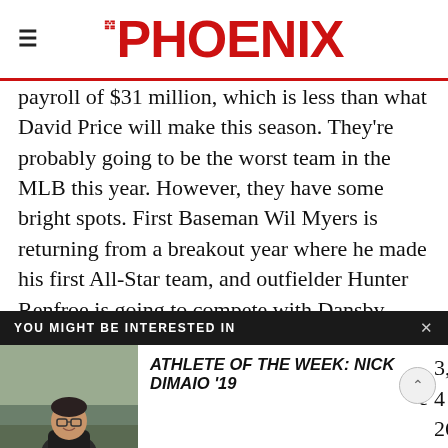THE PHOENIX
payroll of $31 million, which is less than what David Price will make this season. They're probably going to be the worst team in the MLB this year. However, they have some bright spots. First Baseman Wil Myers is returning from a breakout year where he made his first All-Star team, and outfielder Hunter Renfroe is going to compete with Dansby Swanson for the NL Rookie
[Figure (screenshot): YOU MIGHT BE INTERESTED IN overlay banner with close X button, and a card showing 'ATHLETE OF THE WEEK: NICK DIMAIO '19' with a photo of a young man with glasses]
solid 3, 4 ... 26 and 25 ... d make up the ... ture. On the ... nchor the
bullpen, throwing 100 mph despite having one of